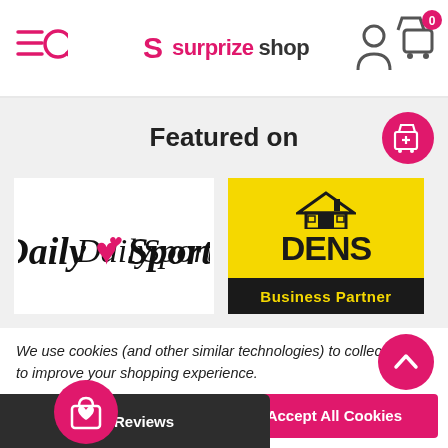surprizeshop — navigation header with menu, search, logo, account and cart icons
Featured on
[Figure (logo): Daily Sports logo in cursive script with a heart, white background]
[Figure (logo): DENS Business Partner logo — yellow background with house icon and black DENS text, black bar with yellow Business Partner text]
We use cookies (and other similar technologies) to collect data to improve your shopping experience.
[Figure (other): Reject all button (pink/magenta)]
[Figure (other): Accept All Cookies button (pink/magenta)]
[Figure (other): Feefo Reviews bar with shopping bag wishlist icon]